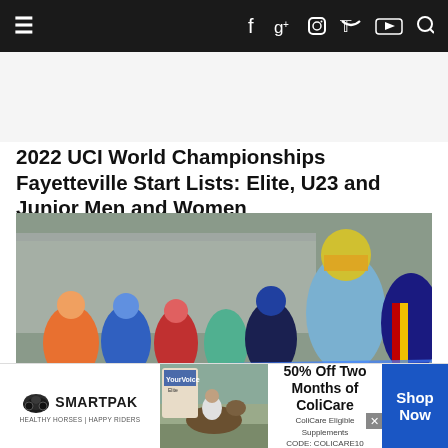Navigation bar with menu icon and social icons: Facebook, Google+, Instagram, Twitter, YouTube, Search
2022 UCI World Championships Fayetteville Start Lists: Elite, U23 and Junior Men and Women
[Figure (photo): Cyclists lined up at the start of a cyclocross race, wearing colorful jerseys and helmets, with bikes ready.]
[Figure (infographic): SmartPak advertisement: 50% Off Two Months of ColiCare, ColiCare Eligible Supplements, CODE: COLICARE10, Shop Now button. Features SmartPak logo with horse icon, product image, and horse/rider photo.]